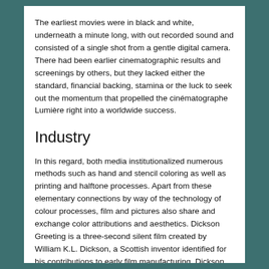The earliest movies were in black and white, underneath a minute long, with out recorded sound and consisted of a single shot from a gentle digital camera. There had been earlier cinematographic results and screenings by others, but they lacked either the standard, financial backing, stamina or the luck to seek out the momentum that propelled the cinématographe Lumière right into a worldwide success.
Industry
In this regard, both media institutionalized numerous methods such as hand and stencil coloring as well as printing and halftone processes. Apart from these elementary connections by way of the technology of colour processes, film and pictures also share and exchange color attributions and aesthetics. Dickson Greeting is a three-second silent film created by William K.L. Dickson, a Scottish inventor identified for his contributions to early film manufacturing. Dickson worked for Thomas Edison and is credited because the inventor of the primary practical